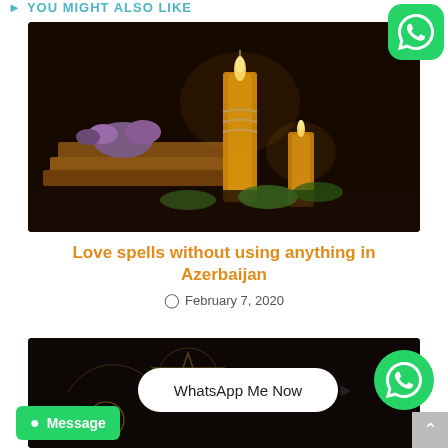YOU MIGHT ALSO LIKE
[Figure (photo): Candle scene with books, flowers, two lit candles on dark background]
Love spells without using anything in Azerbaijan
February 7, 2020
[Figure (photo): Dark mystical scene with WhatsApp Me Now bubble and button overlay]